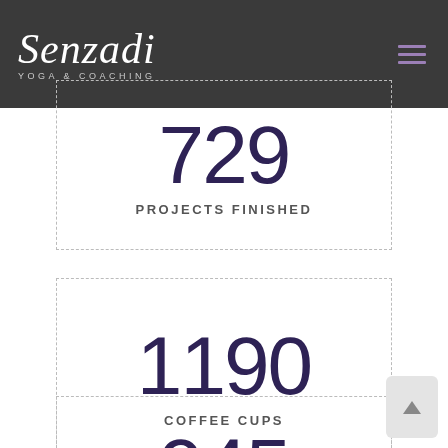[Figure (logo): Senzadi Yoga & Coaching logo in white script on dark grey header]
729
PROJECTS FINISHED
1190
COFFEE CUPS
945